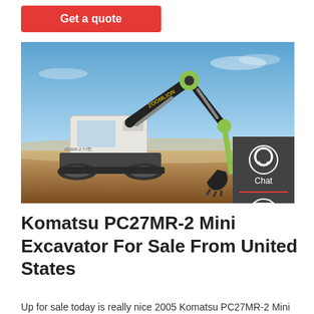Get a quote
[Figure (photo): A Zoomlion mini excavator with a black body and yellow-green arm, working on a dirt field under a blue sky. The excavator is shown in profile with its arm and bucket extended downward.]
Komatsu PC27MR-2 Mini Excavator For Sale From United States
Up for sale today is really nice 2005 Komatsu PC27MR-2 Mini